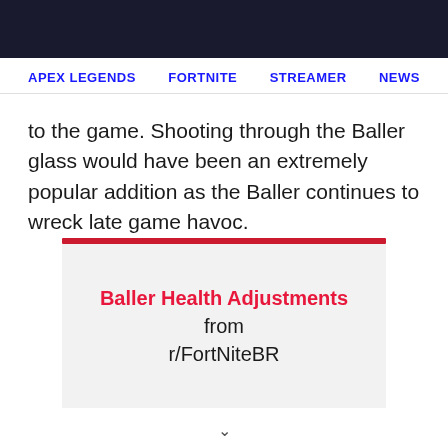APEX LEGENDS   FORTNITE   STREAMER   NEWS
to the game. Shooting through the Baller glass would have been an extremely popular addition as the Baller continues to wreck late game havoc.
[Figure (screenshot): Embedded Reddit post preview card with red top bar and light gray background showing title: Baller Health Adjustments from r/FortNiteBR]